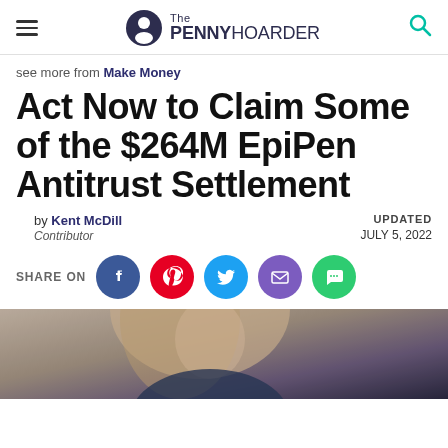The PENNY HOARDER
see more from Make Money
Act Now to Claim Some of the $264M EpiPen Antitrust Settlement
by Kent McDill
Contributor
UPDATED JULY 5, 2022
SHARE ON
[Figure (photo): Photo of a blonde woman looking down, wearing a dark blue top, against a grey background.]